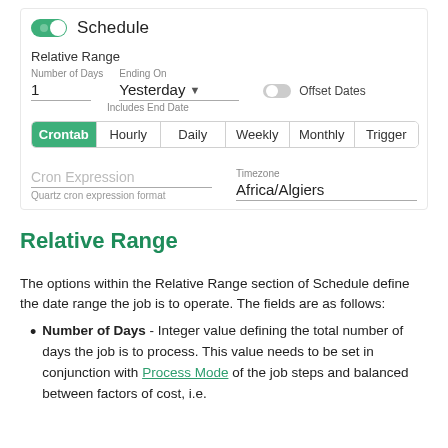[Figure (screenshot): Schedule section UI with toggle, Relative Range fields (Number of Days: 1, Ending On: Yesterday dropdown, Offset Dates toggle), tab bar (Crontab active, Hourly, Daily, Weekly, Monthly, Trigger), Cron Expression input, Timezone field (Africa/Algiers), and Quartz cron expression format note.]
Relative Range
The options within the Relative Range section of Schedule define the date range the job is to operate. The fields are as follows:
Number of Days - Integer value defining the total number of days the job is to process. This value needs to be set in conjunction with Process Mode of the job steps and balanced between factors of cost, i.e.